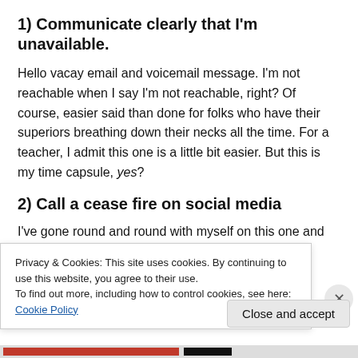1) Communicate clearly that I'm unavailable.
Hello vacay email and voicemail message. I'm not reachable when I say I'm not reachable, right? Of course, easier said than done for folks who have their superiors breathing down their necks all the time. For a teacher, I admit this one is a little bit easier. But this is my time capsule, yes?
2) Call a cease fire on social media
I've gone round and round with myself on this one and
Privacy & Cookies: This site uses cookies. By continuing to use this website, you agree to their use.
To find out more, including how to control cookies, see here: Cookie Policy
Close and accept